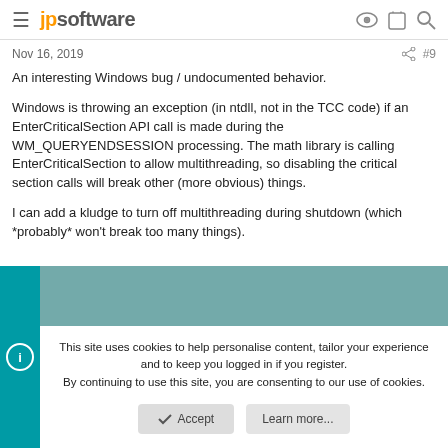jpsoftware
Nov 16, 2019	#9
An interesting Windows bug / undocumented behavior.

Windows is throwing an exception (in ntdll, not in the TCC code) if an EnterCriticalSection API call is made during the WM_QUERYENDSESSION processing. The math library is calling EnterCriticalSection to allow multithreading, so disabling the critical section calls will break other (more obvious) things.

I can add a kludge to turn off multithreading during shutdown (which *probably* won't break too many things).
This site uses cookies to help personalise content, tailor your experience and to keep you logged in if you register.
By continuing to use this site, you are consenting to our use of cookies.